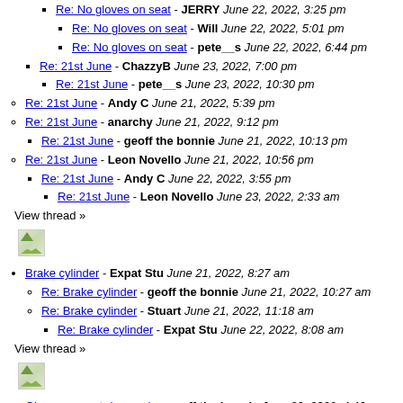Re: No gloves on seat - JERRY June 22, 2022, 3:25 pm
Re: No gloves on seat - Will June 22, 2022, 5:01 pm
Re: No gloves on seat - pete__s June 22, 2022, 6:44 pm
Re: 21st June - ChazzyB June 23, 2022, 7:00 pm
Re: 21st June - pete__s June 23, 2022, 10:30 pm
Re: 21st June - Andy C June 21, 2022, 5:39 pm
Re: 21st June - anarchy June 21, 2022, 9:12 pm
Re: 21st June - geoff the bonnie June 21, 2022, 10:13 pm
Re: 21st June - Leon Novello June 21, 2022, 10:56 pm
Re: 21st June - Andy C June 22, 2022, 3:55 pm
Re: 21st June - Leon Novello June 23, 2022, 2:33 am
View thread »
[Figure (photo): Broken image icon (thumbnail placeholder)]
Brake cylinder - Expat Stu June 21, 2022, 8:27 am
Re: Brake cylinder - geoff the bonnie June 21, 2022, 10:27 am
Re: Brake cylinder - Stuart June 21, 2022, 11:18 am
Re: Brake cylinder - Expat Stu June 22, 2022, 8:08 am
View thread »
[Figure (photo): Broken image icon (thumbnail placeholder)]
Gloves on seat day again - geoff the bonnie June 20, 2022, 4:46 pm
Re: Gloves on seat day again - geoff the bonnie June 20, 2022, 4:46 pm
Re: Gloves on seat day again - CrazyFrog June 21, 2022, 8:52 am